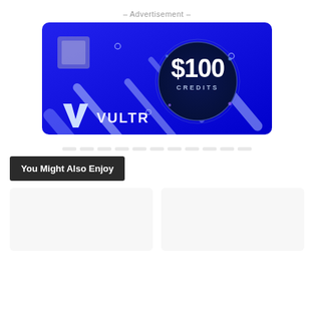– Advertisement –
[Figure (illustration): Vultr advertisement banner showing $100 Credits on a blue background with a chip graphic and the Vultr logo]
· · · · · · · · · · · · · · · · · · · · ·
You Might Also Enjoy
[Figure (other): Two placeholder card images side by side]
[Figure (other): Second placeholder card]